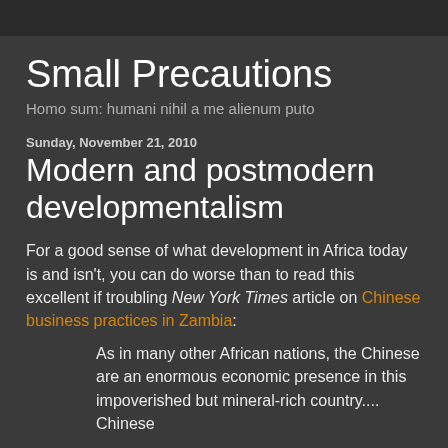Small Precautions
Homo sum: humani nihil a me alienum puto
Sunday, November 21, 2010
Modern and postmodern developmentalism
For a good sense of what development in Africa today is and isn't, you can do worse than to read this excellent if troubling New York Times article on Chinese business practices in Zambia:
As in many other African nations, the Chinese are an enormous economic presence in this impoverished but mineral-rich country.... Chinese